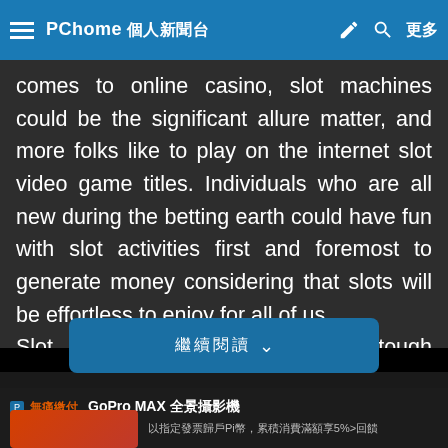PChome 個人新聞台
comes to online casino, slot machines could be the significant allure matter, and more folks like to play on the internet slot video game titles. Individuals who are all new during the betting earth could have fun with slot activities first and foremost to generate money considering that slots will be effortless to enjoy for all of us. Slot casinos doesn't consist of tough concepts like similar wagering applications, together with everyc... video...
[Figure (screenshot): Blue expand/read-more button with Chinese text and a down chevron arrow]
[Figure (screenshot): Advertisement card: GoPro MAX product listing with P payment badge and orange label, red product image thumbnail, text about Pi points and 5% cashback]